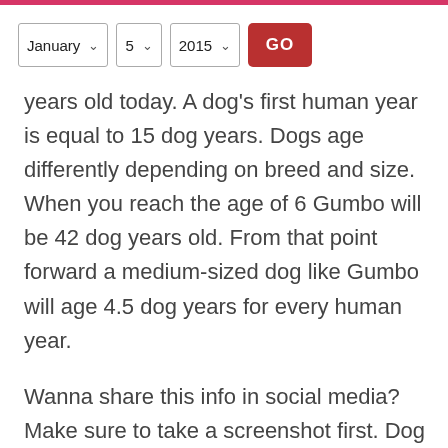January  5  2015  GO
years old today. A dog's first human year is equal to 15 dog years. Dogs age differently depending on breed and size. When you reach the age of 6 Gumbo will be 42 dog years old. From that point forward a medium-sized dog like Gumbo will age 4.5 dog years for every human year.
Wanna share this info in social media? Make sure to take a screenshot first. Dog name and breed are randomly generated. Try reloading this page to see a new pet name and a different